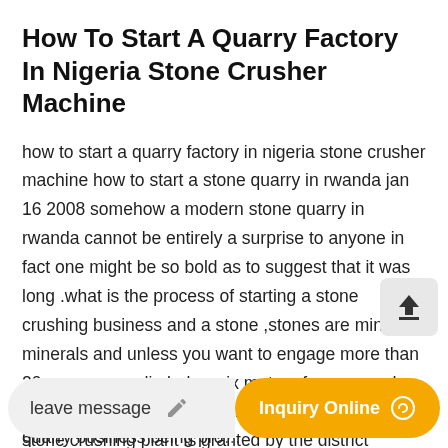How To Start A Quarry Factory In Nigeria Stone Crusher Machine
how to start a quarry factory in nigeria stone crusher machine how to start a stone quarry in rwanda jan 16 2008 somehow a modern stone quarry in rwanda cannot be entirely a surprise to anyone in fact one might be so bold as to suggest that it was long .what is the process of starting a stone crushing business and a stone ,stones are minor minerals and unless you want to engage more than 20 persons, or dig below six meters from ground and use heavy machinery, the permission to start a stone crushing plant is granted by the district collector (or on his
quarry business being pro...